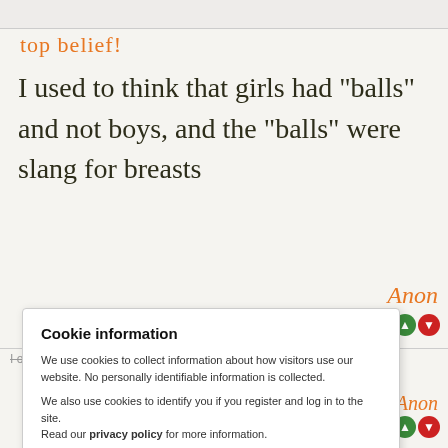top belief!
I used to think that girls had "balls" and not boys, and the "balls" were slang for breasts
Anon
I originally thought "balls" was slang for buttocks instead of testicles.
Anon
Cookie information
We use cookies to collect information about how visitors use our website. No personally identifiable information is collected.

We also use cookies to identify you if you register and log in to the site.
Read our privacy policy for more information.
OK